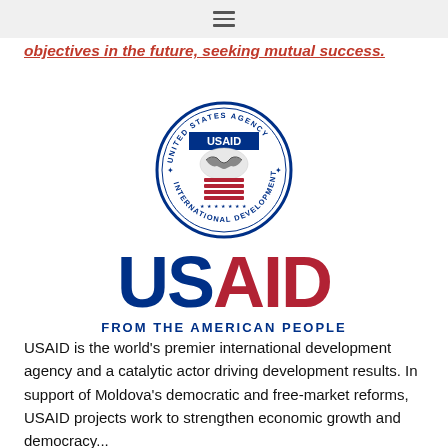≡
objectives in the future, seeking mutual success.
[Figure (logo): USAID logo: circular seal reading 'UNITED STATES AGENCY FOR INTERNATIONAL DEVELOPMENT' with handshake and shield, below which appears the large wordmark 'USAID' in navy blue and red, with tagline 'FROM THE AMERICAN PEOPLE' in navy blue.]
USAID is the world's premier international development agency and a catalytic actor driving development results. In support of Moldova's democratic and free-market reforms, USAID projects work to strengthen economic growth and democracy...